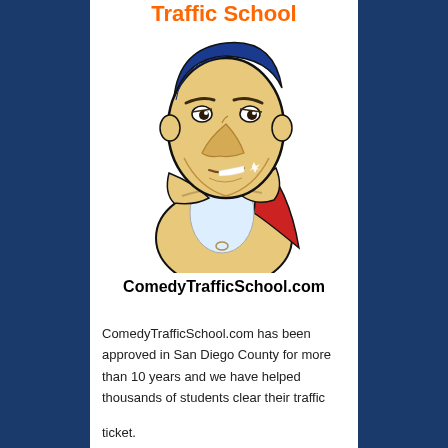Traffic School
[Figure (illustration): Cartoon mascot character: a tough-looking man with blue hair, crossed arms, wearing a superhero-style outfit with red cape, smirking expression]
ComedyTrafficSchool.com
ComedyTrafficSchool.com has been approved in San Diego County for more than 10 years and we have helped thousands of students clear their traffic ticket.